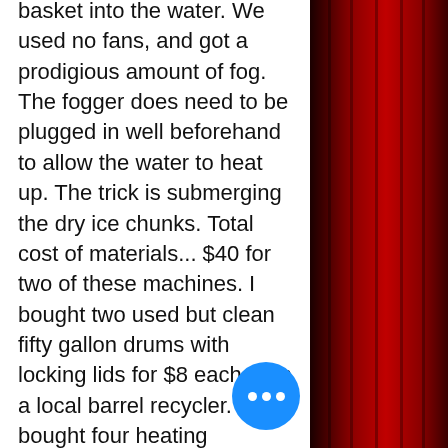basket into the water. We used no fans, and got a prodigious amount of fog. The fogger does need to be plugged in well beforehand to allow the water to heat up. The trick is submerging the dry ice chunks. Total cost of materials... $40 for two of these machines. I bought two used but clean fifty gallon drums with locking lids for $8 each from a local barrel recycler. I bought four heating elements online for $12 total. I made the baskets myself, from "hardware cloth" purchased at True Value for about $5 for both. I had the rod and some of the other electrical components already. I also made some "dollies" out of 2" x 2" x 1/8" iron and casters.
[Figure (photo): Red velvet curtain on the right side of the page, dark red folds with deep shadows]